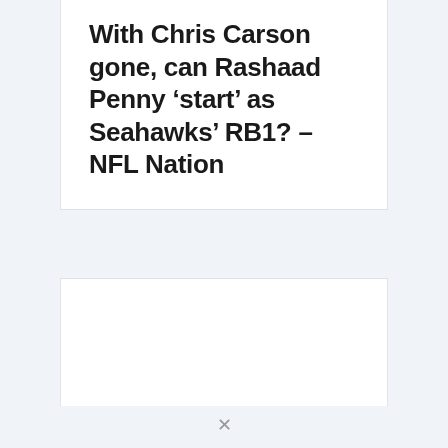With Chris Carson gone, can Rashaad Penny 'start' as Seahawks' RB1? – NFL Nation